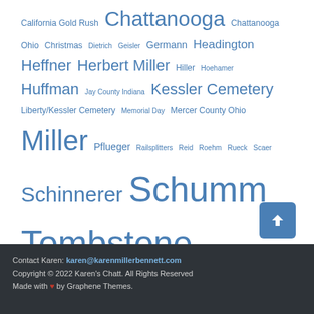California Gold Rush Chattanooga Chattanooga Ohio Christmas Dietrich Geisler Germann Headington Heffner Herbert Miller Hiller Hoehamer Huffman Jay County Indiana Kessler Cemetery Liberty/Kessler Cemetery Memorial Day Mercer County Ohio Miller Pflueger Railsplitters Reid Roehm Rueck Scaer Schinnerer Schumm Tombstone Tombstone art Willshire Willshire Herald WWII WWII Letters Zion Lutheran Cemetery Chattanooga Zion Lutheran Cemetery Chattanooga Ohio Zion Lutheran Cemetery Schumm Zion Lutheran Chattanooga Zion Lutheran Church Schumm Zion Lutheran Schumm
Contact Karen: karen@karenmillerbennett.com
Copyright © 2022 Karen's Chatt. All Rights Reserved
Made with ♥ by Graphene Themes.